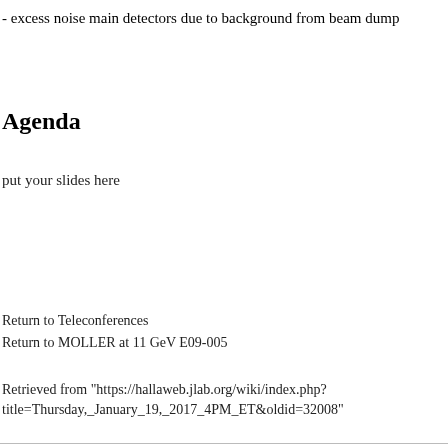- excess noise main detectors due to background from beam dump
Agenda
put your slides here
Return to Teleconferences
Return to MOLLER at 11 GeV E09-005
Retrieved from "https://hallaweb.jlab.org/wiki/index.php?title=Thursday,_January_19,_2017_4PM_ET&oldid=32008"